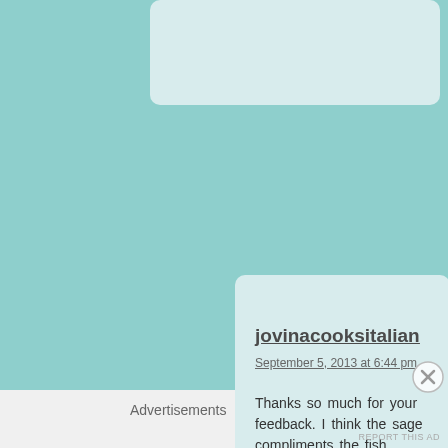jovinacooksitalian
September 5, 2013 at 6:44 pm
Thanks so much for your feedback. I think the sage compliments the fish.
Like
Advertisements
REPORT THIS AD